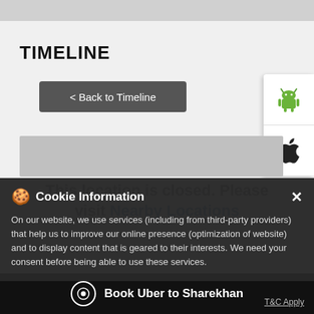TIMELINE
< Back to Timeline
[Figure (screenshot): Android robot logo icon (green)]
[Figure (screenshot): Apple logo icon (black)]
This location is closed. Please visit Nearby Locations
Cookie Information
On our website, we use services (including from third-party providers) that help us to improve our online presence (optimization of website) and to display content that is geared to their interests. We need your consent before being able to use these services.
Book Uber to Sharekhan
T&C Apply